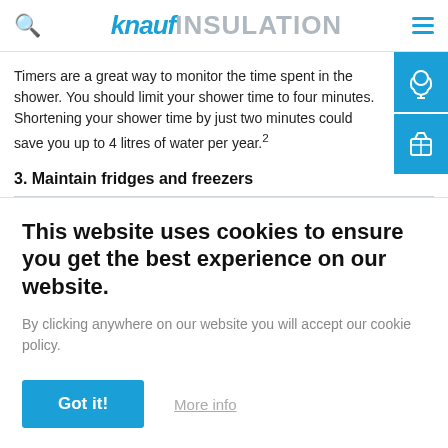Knauf Insulation
Timers are a great way to monitor the time spent in the shower. You should limit your shower time to four minutes. Shortening your shower time by just two minutes could save you up to 4 litres of water per year.²
3. Maintain fridges and freezers
This website uses cookies to ensure you get the best experience on our website.
By clicking anywhere on our website you will accept our cookie policy.